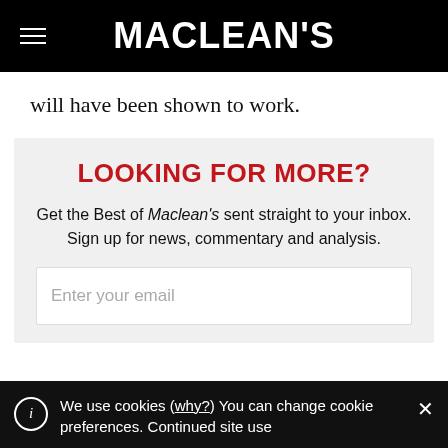MACLEAN'S
will have been shown to work.
LOOKING FOR MORE?
Get the Best of Maclean's sent straight to your inbox. Sign up for news, commentary and analysis.
Enter your email
We use cookies (why?) You can change cookie preferences. Continued site use